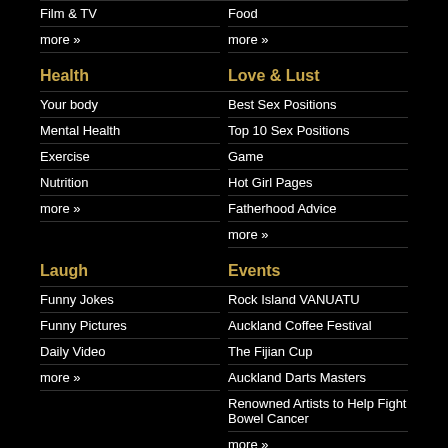Film & TV
Food
more »
more »
Health
Love & Lust
Your body
Best Sex Positions
Mental Health
Top 10 Sex Positions
Exercise
Game
Nutrition
Hot Girl Pages
more »
Fatherhood Advice
more »
Laugh
Events
Funny Jokes
Rock Island VANUATU
Funny Pictures
Auckland Coffee Festival
Daily Video
The Fijian Cup
more »
Auckland Darts Masters
Renowned Artists to Help Fight Bowel Cancer
more »